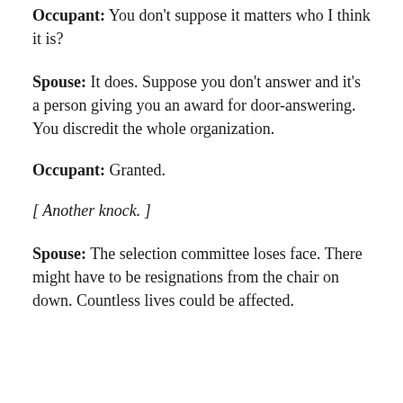Occupant: You don't suppose it matters who I think it is?
Spouse: It does. Suppose you don't answer and it's a person giving you an award for door-answering. You discredit the whole organization.
Occupant: Granted.
[ Another knock. ]
Spouse: The selection committee loses face. There might have to be resignations from the chair on down. Countless lives could be affected.